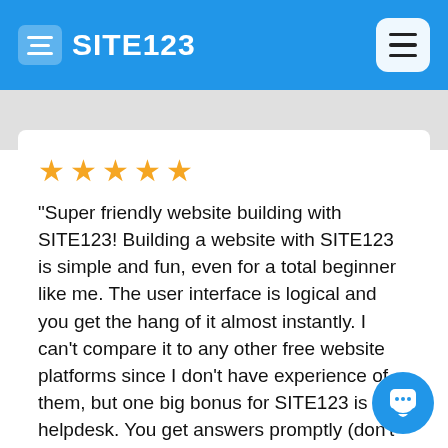SITE123
"Super friendly website building with SITE123! Building a website with SITE123 is simple and fun, even for a total beginner like me. The user interface is logical and you get the hang of it almost instantly. I can't compare it to any other free website platforms since I don't have experience of them, but one big bonus for SITE123 is the helpdesk. You get answers promptly (don't they ever sleep?) and they are always super